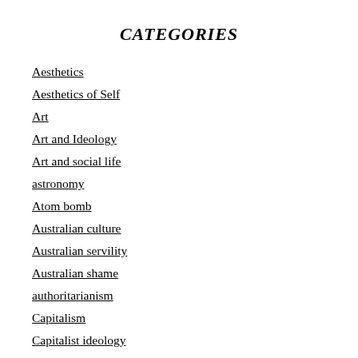CATEGORIES
Aesthetics
Aesthetics of Self
Art
Art and Ideology
Art and social life
astronomy
Atom bomb
Australian culture
Australian servility
Australian shame
authoritarianism
Capitalism
Capitalist ideology